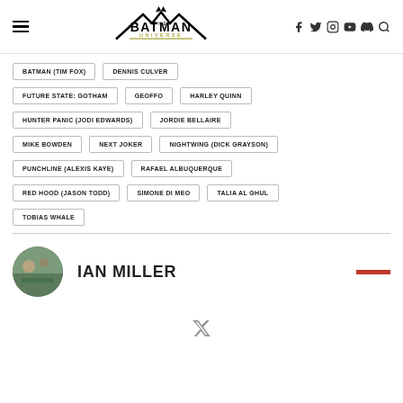The Batman Universe
BATMAN (TIM FOX)
DENNIS CULVER
FUTURE STATE: GOTHAM
GEOFFO
HARLEY QUINN
HUNTER PANIC (JODI EDWARDS)
JORDIE BELLAIRE
MIKE BOWDEN
NEXT JOKER
NIGHTWING (DICK GRAYSON)
PUNCHLINE (ALEXIS KAYE)
RAFAEL ALBUQUERQUE
RED HOOD (JASON TODD)
SIMONE DI MEO
TALIA AL GHUL
TOBIAS WHALE
IAN MILLER